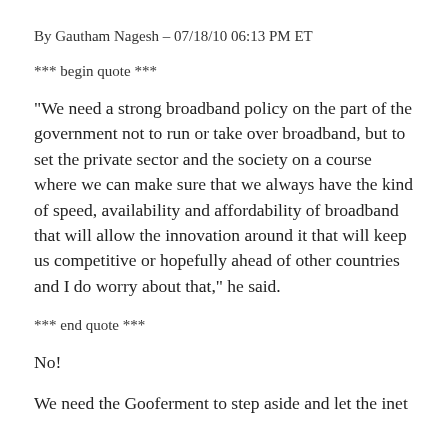By Gautham Nagesh – 07/18/10 06:13 PM ET
*** begin quote ***
“We need a strong broadband policy on the part of the government not to run or take over broadband, but to set the private sector and the society on a course where we can make sure that we always have the kind of speed, availability and affordability of broadband that will allow the innovation around it that will keep us competitive or hopefully ahead of other countries and I do worry about that,” he said.
*** end quote ***
No!
We need the Gooferment to step aside and let the inet